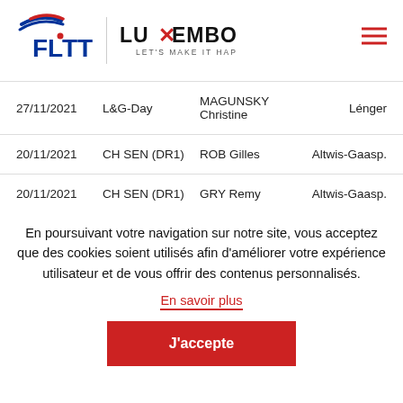[Figure (logo): FLTT logo with red and blue swoosh, Luxembourg Let's Make It Happen logo]
| Date | Event | Name | Club |
| --- | --- | --- | --- |
| 27/11/2021 | L&G-Day | MAGUNSKY Christine | Lénger |
| 20/11/2021 | CH SEN (DR1) | ROB Gilles | Altwis-Gaasp. |
| 20/11/2021 | CH SEN (DR1) | GRY Remy | Altwis-Gaasp. |
En poursuivant votre navigation sur notre site, vous acceptez que des cookies soient utilisés afin d'améliorer votre expérience utilisateur et de vous offrir des contenus personnalisés.
En savoir plus
J'accepte